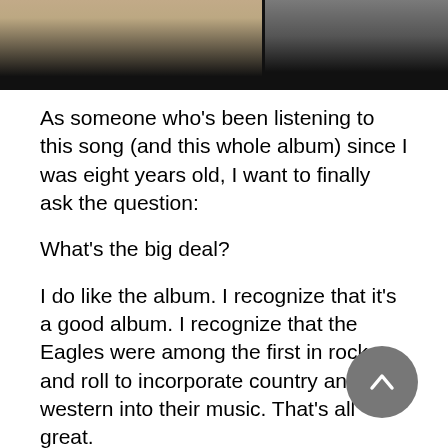[Figure (photo): Photo strip at top showing two images side by side with dark/black bar at bottom]
As someone who's been listening to this song (and this whole album) since I was eight years old, I want to finally ask the question:
What's the big deal?
I do like the album. I recognize that it's a good album. I recognize that the Eagles were among the first in rock and roll to incorporate country and western into their music. That's all great.
What I don't understand is why it's such a huge honkin' big deal. I thought I'd throw the question out to people who haven't been listening to it for their whole lives, in case that is blinding me to something.